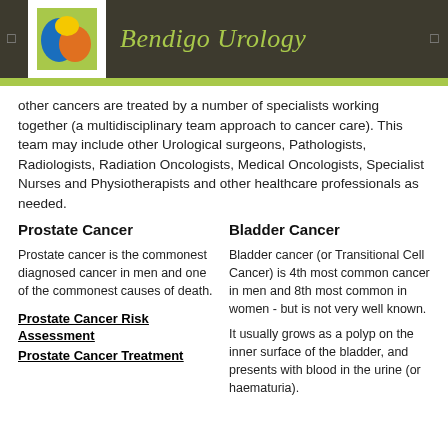Bendigo Urology
other cancers are treated by a number of specialists working together (a multidisciplinary team approach to cancer care). This team may include other Urological surgeons, Pathologists, Radiologists, Radiation Oncologists, Medical Oncologists, Specialist Nurses and Physiotherapists and other healthcare professionals as needed.
Prostate Cancer
Bladder Cancer
Prostate cancer is the commonest diagnosed cancer in men and one of the commonest causes of death.
Bladder cancer (or Transitional Cell Cancer) is 4th most common cancer in men and 8th most common in women - but is not very well known.
It usually grows as a polyp on the inner surface of the bladder, and presents with blood in the urine (or haematuria).
Prostate Cancer Risk Assessment
Prostate Cancer Treatment